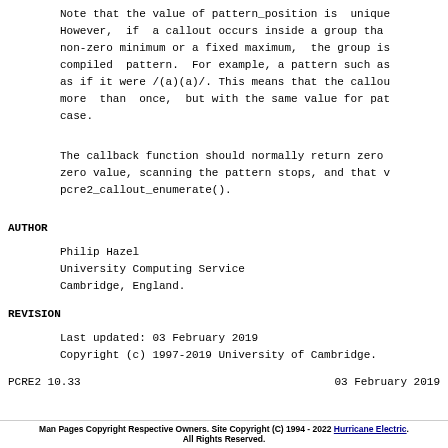Note that the value of pattern_position is unique. However, if a callout occurs inside a group that has a non-zero minimum or a fixed maximum, the group is compiled pattern. For example, a pattern such as is as if it were /(a)(a)/. This means that the callout more than once, but with the same value for pattern_position case.
The callback function should normally return zero. If it returns a non-zero value, scanning the pattern stops, and that value is returned from pcre2_callout_enumerate().
AUTHOR
Philip Hazel
University Computing Service
Cambridge, England.
REVISION
Last updated: 03 February 2019
Copyright (c) 1997-2019 University of Cambridge.
PCRE2 10.33                        03 February 2019
Man Pages Copyright Respective Owners. Site Copyright (C) 1994 - 2022 Hurricane Electric. All Rights Reserved.